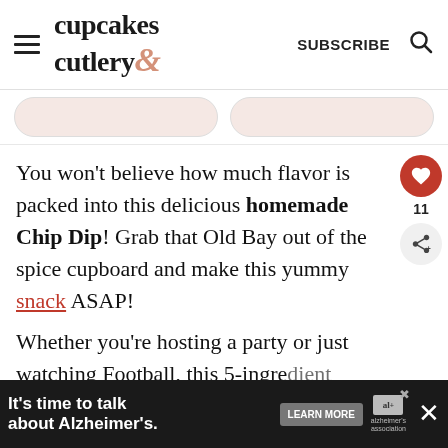cupcakes & cutlery — SUBSCRIBE
You won’t believe how much flavor is packed into this delicious homemade Chip Dip! Grab that Old Bay out of the spice cupboard and make this yummy snack ASAP!
Whether you’re hosting a party or just watching Football, this 5-ingredient recipe will hit the spot. Pair it with p…
WHAT’S NEXT → This Car Vent Diffuser Will…
It’s time to talk about Alzheimer’s. LEARN MORE